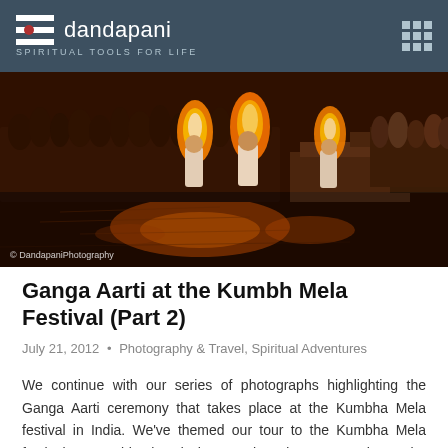dandapani — SPIRITUAL TOOLS FOR LIFE
[Figure (photo): A nighttime Ganga Aarti ceremony at Kumbh Mela festival. Priests are performing aarti with large flaming lamps near the Ganges river. A large crowd stands watching on the ghats. The scene is illuminated by orange fire light reflecting on the water. A watermark reads © DandapaniPhotography.]
Ganga Aarti at the Kumbh Mela Festival (Part 2)
July 21, 2012 • Photography & Travel, Spiritual Adventures
We continue with our series of photographs highlighting the Ganga Aarti ceremony that takes place at the Kumbha Mela festival in India. We've themed our tour to the Kumbha Mela festival as a spiritual and photography adventure as there's be countless opportunities for photography duri...